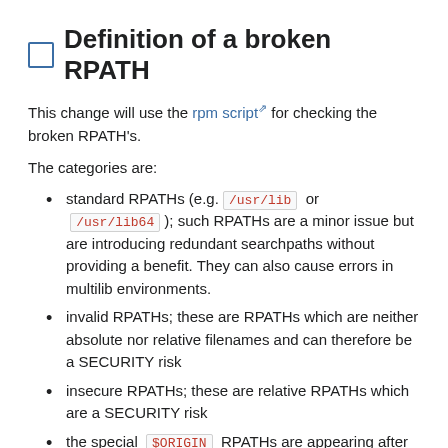☐ Definition of a broken RPATH
This change will use the rpm script for checking the broken RPATH's.
The categories are:
standard RPATHs (e.g. /usr/lib or /usr/lib64 ); such RPATHs are a minor issue but are introducing redundant searchpaths without providing a benefit. They can also cause errors in multilib environments.
invalid RPATHs; these are RPATHs which are neither absolute nor relative filenames and can therefore be a SECURITY risk
insecure RPATHs; these are relative RPATHs which are a SECURITY risk
the special $ORIGIN RPATHs are appearing after other RPATHs; this is just a minor issue but usually unwanted
the RPATH is empty; there is no reason for such RPATHs and they cause unneeded work while loading libraries
an RPATH references .. of an absolute path; this will